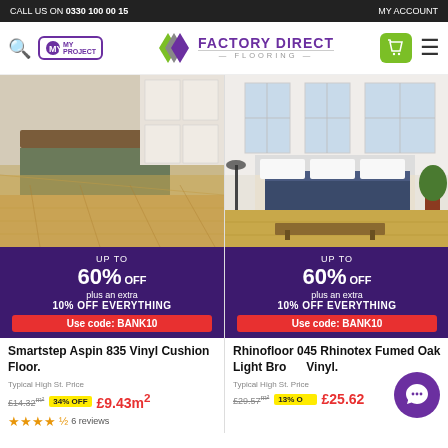CALL US ON 0330 100 00 15 | MY ACCOUNT
[Figure (screenshot): Factory Direct Flooring website navigation bar with logo, search icon, my project button, basket button and hamburger menu]
[Figure (photo): Kitchen with light wood vinyl flooring, grey-green cabinets and white kitchen units]
UP TO 60% OFF plus an extra 10% OFF EVERYTHING Use code: BANK10
Smartstep Aspin 835 Vinyl Cushion Floor.
Typical High St. Price £14.32/m² 34% OFF £9.43m²
★★★★½ 6 reviews
[Figure (photo): Bedroom with light wood vinyl flooring, white walls, large windows and a bed with dark blue throw]
UP TO 60% OFF plus an extra 10% OFF EVERYTHING Use code: BANK10
Rhinofloor 045 Rhinotex Fumed Oak Light Brown Vinyl.
Typical High St. Price £29.57/m² 13% OFF £25.62...